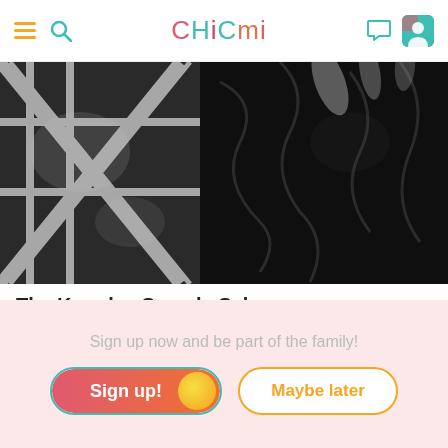CHICMI app header with hamburger menu, search icon, CHICMI logo, chat icon, and avatar
[Figure (photo): Black and white close-up photo of The Kooples branded clothing with textured knit and leather detail]
The Kooples Sample Sale
Ended 5 November 2017 · 63 going
New York
Sign up now and be part of the family!
Sign up!
Maybe later